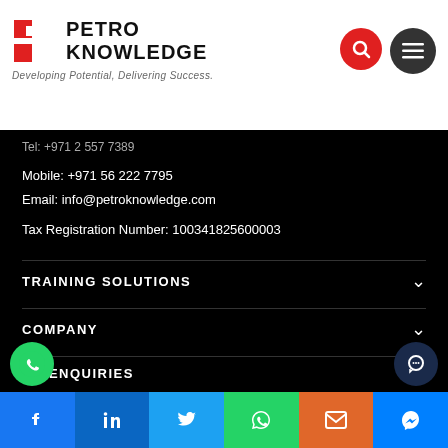[Figure (logo): Petro Knowledge logo with red P icon and tagline 'Developing Potential, Delivering Success.']
Tel: +971 2 557 7389
Mobile: +971 56 222 7795
Email: info@petroknowledge.com
Tax Registration Number: 100341825600003
TRAINING SOLUTIONS
COMPANY
CK ENQUIRIES